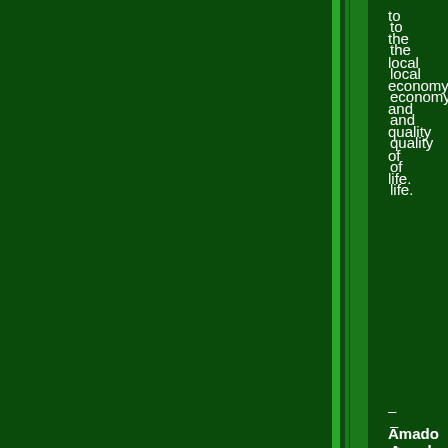to the local economy and quality of life.
– Amado (𝄞 𝄞 28꜀02 𝄞 25 𝄞 02:25) International directory enquiries http://www.ocmedica day-4.pptx baker handful